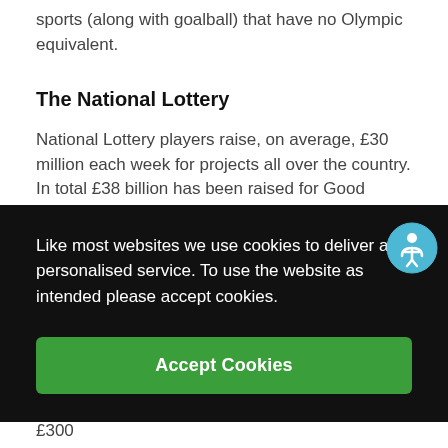sports (along with goalball) that have no Olympic equivalent.
The National Lottery
National Lottery players raise, on average, £30 million each week for projects all over the country. In total £38 billion has been raised for Good Causes since The National Lottery began in 1994 and more than 535,000 individual grants have been made across the UK, the majority (70 per cent) of which are for £10,000 or less, [partially obscured] their
Like most websites we use cookies to deliver a personalised service. To use the website as intended please accept cookies.
Accept Cookies
Sport England is a public body and invests up to £300